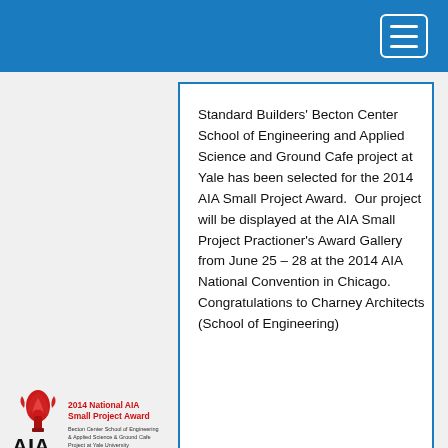[Figure (logo): 2014 National AIA Small Project Award logo with AIA letters and red torch emblem, text: Becton Center School of Engineering & Applied Science & Ground Cafe Project at Yale University]
Standard Builders' Becton Center School of Engineering and Applied Science and Ground Cafe project at Yale has been selected for the 2014 AIA Small Project Award.  Our project will be displayed at the AIA Small Project Practioner's Award Gallery from June 25 – 28 at the 2014 AIA National Convention in Chicago. Congratulations to Charney Architects (School of Engineering)